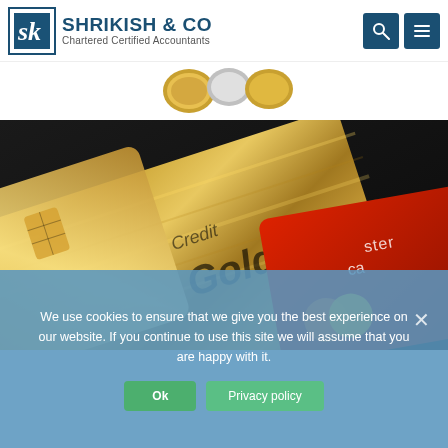[Figure (logo): Shrikish & Co Chartered Certified Accountants logo with SK monogram in blue box, company name in dark blue, and two nav icon buttons (search and menu)]
[Figure (photo): Close-up photo of gold credit cards and a Mastercard, with 'Credit Gold' text visible on the gold card]
We use cookies to ensure that we give you the best experience on our website. If you continue to use this site we will assume that you are happy with it.
Ok
Privacy policy